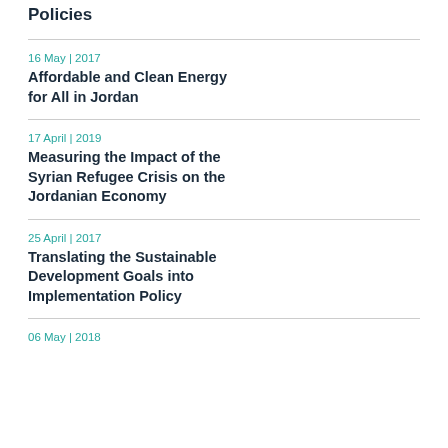Policies
16 May | 2017
Affordable and Clean Energy for All in Jordan
17 April | 2019
Measuring the Impact of the Syrian Refugee Crisis on the Jordanian Economy
25 April | 2017
Translating the Sustainable Development Goals into Implementation Policy
06 May | 2018